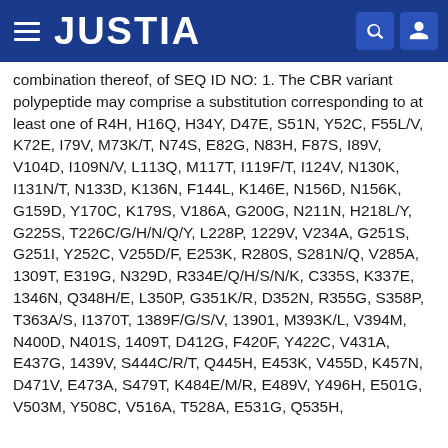JUSTIA
combination thereof, of SEQ ID NO: 1. The CBR variant polypeptide may comprise a substitution corresponding to at least one of R4H, H16Q, H34Y, D47E, S51N, Y52C, F55L/V, K72E, I79V, M73K/T, N74S, E82G, N83H, F87S, I89V, V104D, I109N/V, L113Q, M117T, I119F/T, I124V, N130K, I131N/T, N133D, K136N, F144L, K146E, N156D, N156K, G159D, Y170C, K179S, V186A, G200G, N211N, H218L/Y, G225S, T226C/G/H/N/Q/Y, L228P, 1229V, V234A, G251S, G251I, Y252C, V255D/F, E253K, R280S, S281N/Q, V285A, 1309T, E319G, N329D, R334E/Q/H/S/N/K, C335S, K337E, 1346N, Q348H/E, L350P, G351K/R, D352N, R355G, S358P, T363A/S, I1370T, 1389F/G/S/V, 13901, M393K/L, V394M, N400D, N401S, 1409T, D412G, F420F, Y422C, V431A, E437G, 1439V, S444C/R/T, Q445H, E453K, V455D, K457N, D471V, E473A, S479T, K484E/M/R, E489V, Y496H, E501G, V503M, Y508C, V516A, T528A, E531G, Q535H,